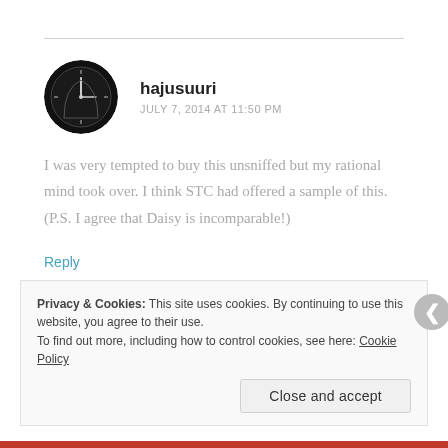[Figure (photo): Circular avatar photo showing a black and white clock face]
hajusuuri
JULY 7, 2014 AT 11:50 PM
I was very tempted to buy this unsniffed but my rational mind took over. I think STC had offered a sample of this. (P.S. I agree that Daisy is incomparable!)
Reply
Privacy & Cookies: This site uses cookies. By continuing to use this website, you agree to their use.
To find out more, including how to control cookies, see here: Cookie Policy
Close and accept